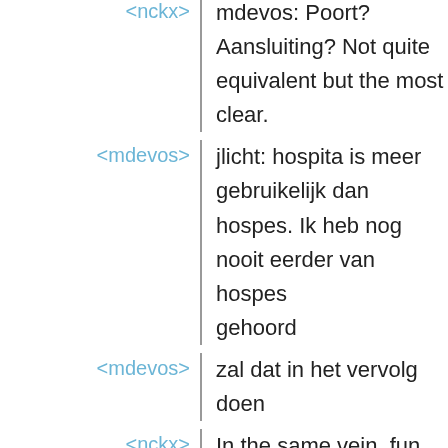<nckx> mdevos: Poort? Aansluiting? Not quite equivalent but the most clear.
<mdevos> jlicht: hospita is meer gebruikelijk dan hospes. Ik heb nog nooit eerder van hospes gehoord
<mdevos> zal dat in het vervolg doen
<nckx> In the same vein, fun hacks like 'hospes' are, well, fun, but they don't actually help anyone understand & use the